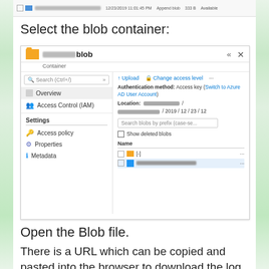[Figure (screenshot): Screenshot strip showing a file row with blurred name, date 12/23/2019 11:01:45 PM, type Append blob, size 333 B, status Available]
Select the blob container:
[Figure (screenshot): Azure Storage portal screenshot showing a blob container panel with left navigation (Overview selected, Access Control IAM, Settings: Access policy, Properties, Metadata) and right panel with Upload and Change access level toolbar, Authentication method showing Access key with Switch to Azure AD User Account link, Location with blurred path / blurred / 2019 / 12 / 23 / 12, Search blobs by prefix field, Show deleted blobs checkbox, Name column with folder [-] and a blurred blob file entry]
Open the Blob file.
There is a URL which can be copied and pasted into the browser to download the log fil...